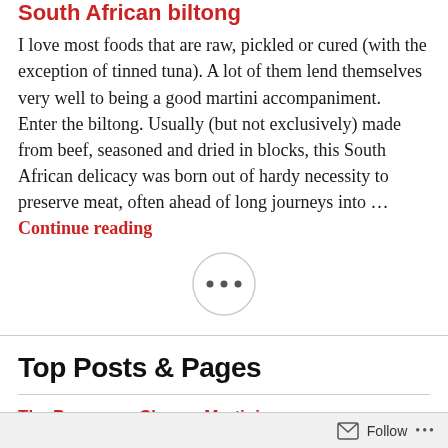South African biltong
I love most foods that are raw, pickled or cured (with the exception of tinned tuna). A lot of them lend themselves very well to being a good martini accompaniment.   Enter the biltong. Usually (but not exclusively) made from beef, seasoned and dried in blocks, this South African delicacy was born out of hardy necessity to preserve meat, often ahead of long journeys into … Continue reading
[Figure (other): Circular button with three dots (ellipsis) indicating navigation or more options]
Top Posts & Pages
The Parmesan Cheese Martini
Follow ...